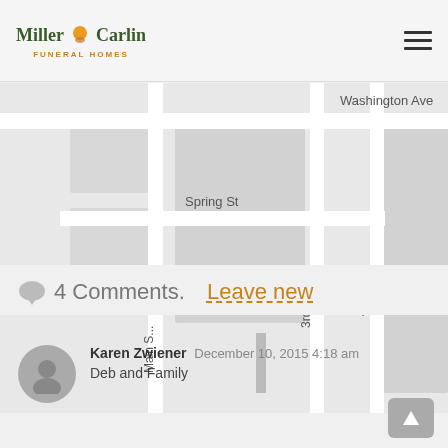Miller-Carlin Funeral Homes
[Figure (map): Street map showing Washington Ave, Spring St, Main St, 3rd St, and 4th St intersections]
4 Comments. Leave new
Karen Zwiener  December 10, 2015 4:18 am
Deb and Family